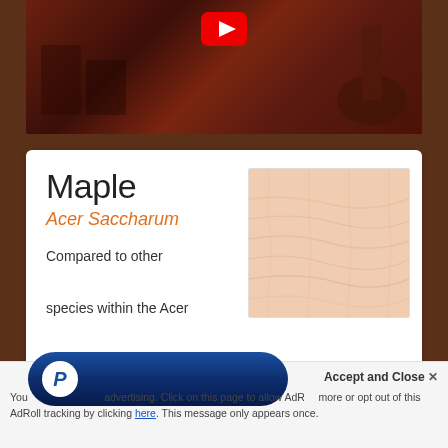[Figure (photo): Video thumbnail showing wooden items on a table, with YouTube play button overlay, dark reddish-brown background]
Maple
Acer Saccharum
Compared to other species within the Acer genus, Acer saccharum, also known as Hard Maple, is the most dense (sitting at about 1450 on the Janka scale).
[Figure (photo): Wood sample swatch showing light peach/cream colored maple wood grain texture]
Accept and Close ×
You use of this website constitutes acceptance of advertising. Click on this page to allow AdRoll to use cookies to personalize advertising and more or opt out of this AdRoll tracking by clicking here. This message only appears once.